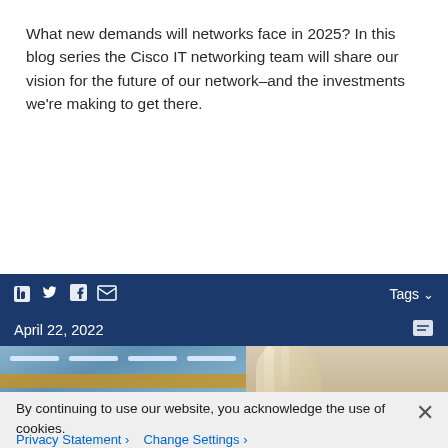What new demands will networks face in 2025? In this blog series the Cisco IT networking team will share our vision for the future of our network–and the investments we're making to get there.
[Figure (screenshot): Dark blue social sharing toolbar with LinkedIn, Twitter, Facebook, and email icons on the left, and a 'Tags ∨' dropdown button on the right]
[Figure (screenshot): Dark blue card header bar showing 'April 22, 2022' date on the left and a small icon on the right, followed by a photo strip showing an office hallway on the left and a blonde woman on the right]
By continuing to use our website, you acknowledge the use of cookies.
Privacy Statement >   Change Settings >